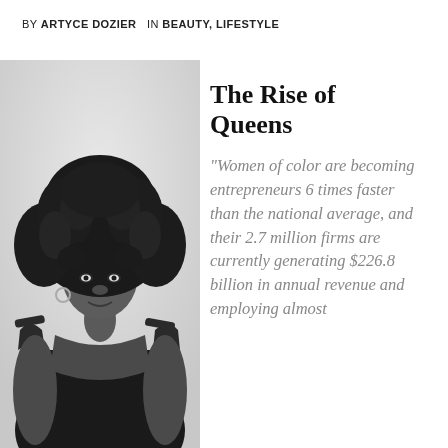BY ARTYCE DOZIER   IN BEAUTY, LIFESTYLE
[Figure (photo): Black and white portrait of a young Black woman with natural curly hair, wearing an off-shoulder dark top, looking at the camera.]
The Rise of Queens
"Women of color are becoming entrepreneurs 6 times faster than the national average, and their 2.7 million firms are currently generating $226.8 billion in annual revenue and employing almost